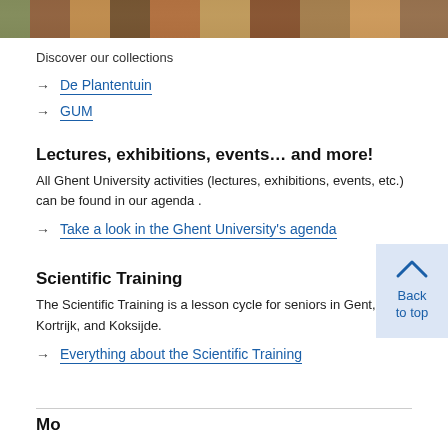[Figure (photo): Photo strip showing people outdoors]
Discover our collections
→ De Plantentuin
→ GUM
Lectures, exhibitions, events… and more!
All Ghent University activities (lectures, exhibitions, events, etc.) can be found in our agenda .
→ Take a look in the Ghent University's agenda
Scientific Training
The Scientific Training is a lesson cycle for seniors in Gent, Kortrijk, and Koksijde.
→ Everything about the Scientific Training
Back to top
Mo ...